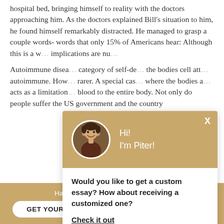hospital bed, bringing himself to reality with the doctors approaching him. As the doctors explained Bill's situation to him, he found himself remarkably distracted. He managed to grasp a couple words- words that only 15% of Americans hear: Although this is a w... implications are nu...
Autoimmune disea... category of self-de... the bodies cell att... autoimmune. How... rarer. A special cas... where the bodies a... acts as a limitation... blood to the entire body. Not only do people suffer the US government and the country
[Figure (screenshot): Chat popup with avatar photo of a man named Piter, tan/brown header with 'Hi! I'm Piter!' text, body asking 'Would you like to get a custom essay? How about receiving a customized one?' with a 'Check it out' underlined link]
Haven't Found The Essay You Want?
GET YOUR CUSTOM ESSAY    For Only $13.90/page